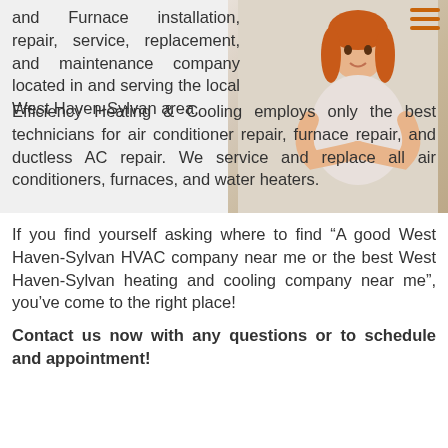and Furnace installation, repair, service, replacement, and maintenance company located in and serving the local West Haven-Sylvan area.
[Figure (photo): Woman with red hair smiling with arms crossed, light background, with orange hamburger menu icon in top right]
Efficiency Heating & Cooling employs only the best technicians for air conditioner repair, furnace repair, and ductless AC repair. We service and replace all air conditioners, furnaces, and water heaters.
If you find yourself asking where to find “A good West Haven-Sylvan HVAC company near me or the best West Haven-Sylvan heating and cooling company near me”, you’ve come to the right place!
Contact us now with any questions or to schedule and appointment!